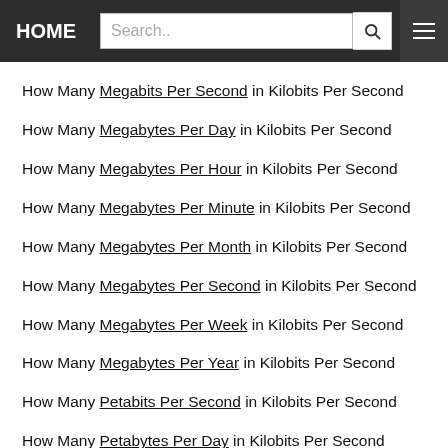HOME | Search..
How Many Megabits Per Second in Kilobits Per Second
How Many Megabytes Per Day in Kilobits Per Second
How Many Megabytes Per Hour in Kilobits Per Second
How Many Megabytes Per Minute in Kilobits Per Second
How Many Megabytes Per Month in Kilobits Per Second
How Many Megabytes Per Second in Kilobits Per Second
How Many Megabytes Per Week in Kilobits Per Second
How Many Megabytes Per Year in Kilobits Per Second
How Many Petabits Per Second in Kilobits Per Second
How Many Petabytes Per Day in Kilobits Per Second